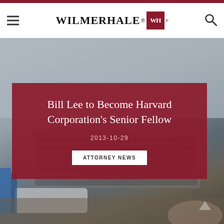WilmerHale
[Figure (photo): Blurred background photo of a laptop keyboard and smartphone on a desk, with blue book/binder visible]
Bill Lee to Become Harvard Corporation's Senior Fellow
2013-10-29
ATTORNEY NEWS